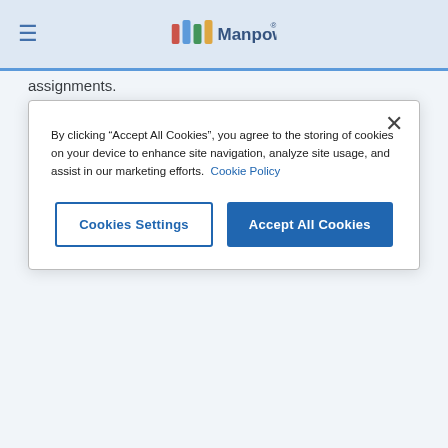Manpower
[Figure (screenshot): Cookie consent modal dialog with 'Cookies Settings' and 'Accept All Cookies' buttons]
By clicking “Accept All Cookies”, you agree to the storing of cookies on your device to enhance site navigation, analyze site usage, and assist in our marketing efforts. Cookie Policy
assignments.
4. Complete weekly Professional Practice exercises to prove your knowledge of the course content and your ability to apply what you learned in a work-related situation.
What you’ll earn upon successful completion:
1. A certificate recognizing the achievement in the field.